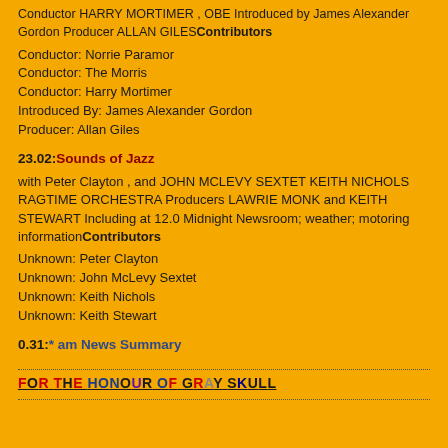Conductor HARRY MORTIMER , OBE Introduced by James Alexander Gordon Producer ALLAN GILES Contributors
Conductor: Norrie Paramor
Conductor: The Morris
Conductor: Harry Mortimer
Introduced By: James Alexander Gordon
Producer: Allan Giles
23.02: Sounds of Jazz
with Peter Clayton , and JOHN MCLEVY SEXTET KEITH NICHOLS RAGTIME ORCHESTRA Producers LAWRIE MONK and KEITH STEWART Including at 12.0 Midnight Newsroom; weather; motoring information Contributors
Unknown: Peter Clayton
Unknown: John McLevy Sextet
Unknown: Keith Nichols
Unknown: Keith Stewart
0.31:* am News Summary
FOR THE HONOUR OF GRAY SKULL